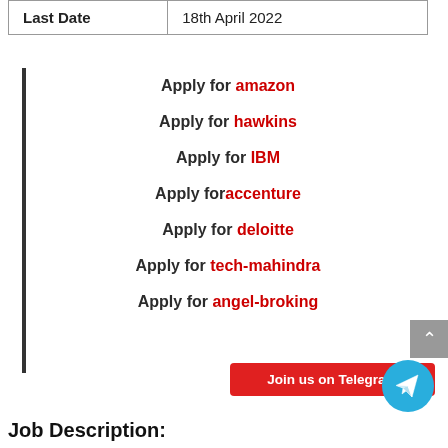| Last Date | 18th April 2022 |
Apply for amazon
Apply for hawkins
Apply for IBM
Apply for accenture
Apply for deloitte
Apply for tech-mahindra
Apply for angel-broking
Join us on Telegram
Job Description: